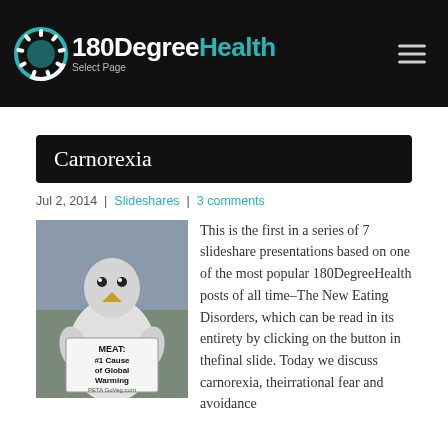180DegreeHealth — Select Page
Carnorexia
Jul 2, 2014 | Slideshares | 3 comments
[Figure (photo): Person in chicken costume holding a sign that reads MEAT: #1 Cause of Global Warming — PETA GoVeg.com]
This is the first in a series of 7 slideshare presentations based on one of the most popular 180DegreeHealth posts of all time–The New Eating Disorders, which can be read in its entirety by clicking on the button in the final slide. Today we discuss carnorexia, the irrational fear and avoidance